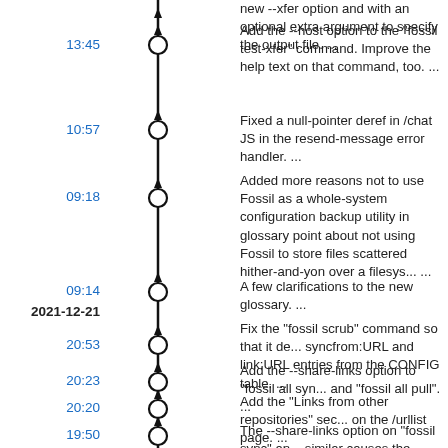new --xfer option and with an optional extra argument to specify the output file. ...
13:45 — Add the --host option to the "fossil test-xfer" command. Improve the help text on that command, too. ...
10:57 — Fixed a null-pointer deref in /chat JS in the resend-message error handler. ...
09:18 — Added more reasons not to use Fossil as a whole-system configuration backup utility in glossary point about not using Fossil to store files scattered hither-and-yon over a filesystem. ...
09:14 — A few clarifications to the new glossary. ...
2021-12-21
20:53 — Fix the "fossil scrub" command so that it deletes syncfrom:URL and link:URL entries from the CONFIG table. ...
20:23 — Add the --share-links option to "fossil all sync" and "fossil all pull". ...
20:20 — Add the "Links from other repositories" section on the /urllist page. ...
19:50 — The --share-links option on "fossil sync" and similar causes the server to reply with "pragma link" lines that identify other repositories with which the server has interacted within the p...